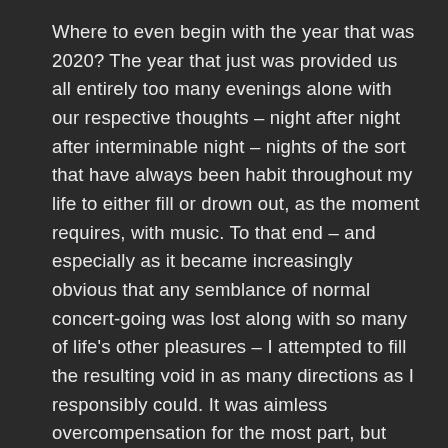Where to even begin with the year that was 2020? The year that just was provided us all entirely too many evenings alone with our respective thoughts – night after night after interminable night – nights of the sort that have always been habit throughout my life to either fill or drown out, as the moment requires, with music. To that end – and especially as it became increasingly obvious that any semblance of normal concert-going was lost along with so many of life's other pleasures – I attempted to fill the resulting void in as many directions as I responsibly could. It was aimless overcompensation for the most part, but when the connection did kick in, I felt something like normal again…at least for a minute at a time. For one minute at a time, it felt like old times. For a long time, only music helped.
Continue reading →